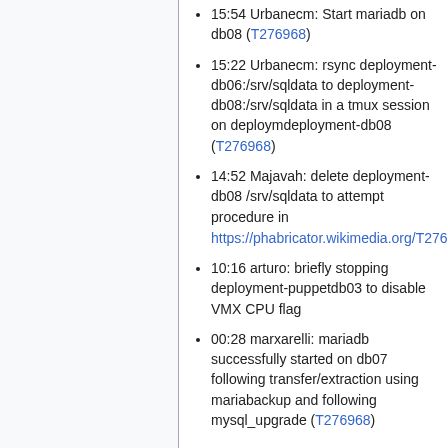15:54 Urbanecm: Start mariadb on db08 (T276968)
15:22 Urbanecm: rsync deployment-db06:/srv/sqldata to deployment-db08:/srv/sqldata in a tmux session on deploymdeployment-db08 (T276968)
14:52 Majavah: delete deployment-db08 /srv/sqldata to attempt procedure in https://phabricator.wikimedia.org/T276968#6900199
10:16 arturo: briefly stopping deployment-puppetdb03 to disable VMX CPU flag
00:28 marxarelli: mariadb successfully started on db07 following transfer/extraction using mariabackup and following mysql_upgrade (T276968)